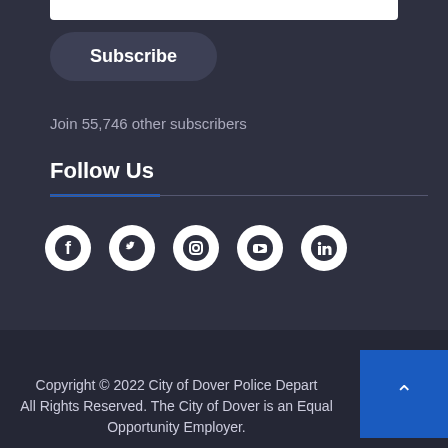Subscribe
Join 55,746 other subscribers
Follow Us
[Figure (other): Social media icons: Facebook, Twitter, Instagram, YouTube, LinkedIn]
Copyright © 2022 City of Dover Police Department. All Rights Reserved. The City of Dover is an Equal Opportunity Employer.